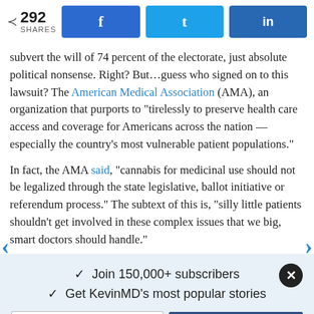< 292 SHARES [Facebook] [Twitter] [LinkedIn]
subvert the will of 74 percent of the electorate, just absolute political nonsense. Right? But…guess who signed on to this lawsuit? The American Medical Association (AMA), an organization that purports to "tirelessly to preserve health care access and coverage for Americans across the nation — especially the country's most vulnerable patient populations."
In fact, the AMA said, "cannabis for medicinal use should not be legalized through the state legislative, ballot initiative or referendum process." The subtext of this is, "silly little patients shouldn't get involved in these complex issues that we big, smart doctors should handle."
✓  Join 150,000+ subscribers
✓  Get KevinMD's most popular stories
Email [Subscribe. It's free.]